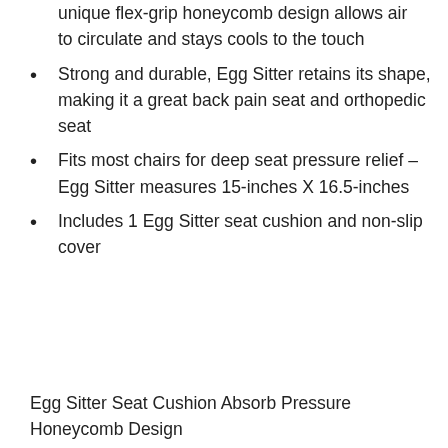unique flex-grip honeycomb design allows air to circulate and stays cools to the touch
Strong and durable, Egg Sitter retains its shape, making it a great back pain seat and orthopedic seat
Fits most chairs for deep seat pressure relief – Egg Sitter measures 15-inches X 16.5-inches
Includes 1 Egg Sitter seat cushion and non-slip cover
Egg Sitter Seat Cushion Absorb Pressure Honeycomb Design